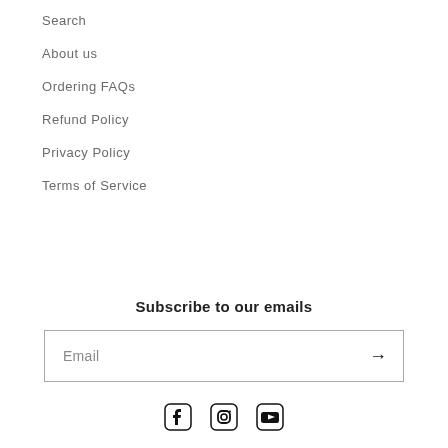Search
About us
Ordering FAQs
Refund Policy
Privacy Policy
Terms of Service
Subscribe to our emails
Email
[Figure (infographic): Social media icons: Facebook, Instagram, YouTube]